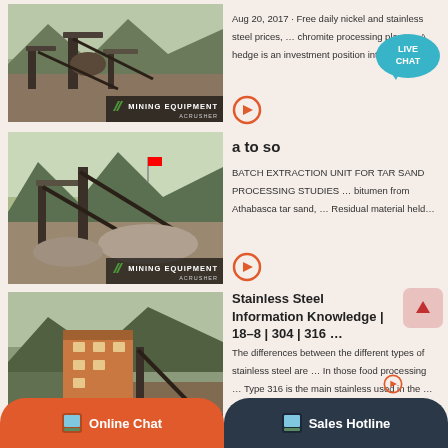[Figure (photo): Mining equipment / crusher site with conveyor belts and machinery, waterway in background. MINING EQUIPMENT ACRUSHER logo overlay.]
Aug 20, 2017 · Free daily nickel and stainless steel prices, … chromite processing plant … A hedge is an investment position intended to…
[Figure (illustration): Orange circular arrow button]
[Figure (illustration): Live Chat speech bubble icon in teal]
[Figure (photo): Mining equipment site with conveyor belts and gravel mounds, mountains in background. MINING EQUIPMENT ACRUSHER logo overlay.]
a to so
BATCH EXTRACTION UNIT FOR TAR SAND PROCESSING STUDIES … bitumen from Athabasca tar sand, … Residual material held…
[Figure (illustration): Orange circular arrow button]
[Figure (photo): Mining facility with large orange/brown building structure, conveyor systems, and mountains behind. MINING EQUIPMENT ACRUSHER logo overlay.]
Stainless Steel Information Knowledge | 18–8 | 304 | 316 …
The differences between the different types of stainless steel are … In those food processing … Type 316 is the main stainless used in the …
[Figure (illustration): Scroll up arrow icon button (pink/red tinted box with upward arrow)]
Online Chat
Sales Hotline